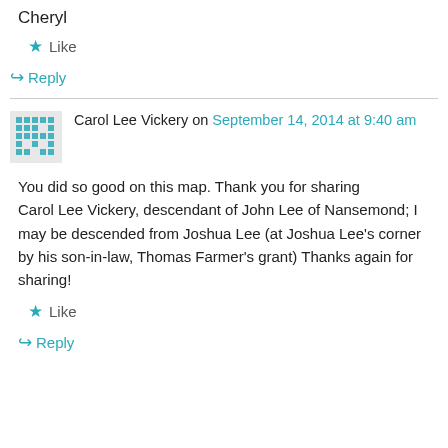Cheryl
★ Like
↪ Reply
Carol Lee Vickery on September 14, 2014 at 9:40 am
You did so good on this map. Thank you for sharing
Carol Lee Vickery, descendant of John Lee of Nansemond; I may be descended from Joshua Lee (at Joshua Lee's corner by his son-in-law, Thomas Farmer's grant) Thanks again for sharing!
★ Like
↪ Reply